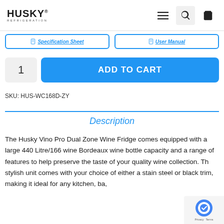HUSKY® REFRIGERATION — navigation bar with menu, search, and cart icons
Specification Sheet  User Manual
1  ADD TO CART
SKU: HUS-WC168D-ZY
Description
The Husky Vino Pro Dual Zone Wine Fridge comes equipped with a large 440 Litre/166 wine Bordeaux wine bottle capacity and a range of features to help preserve the taste of your quality wine collection. The stylish unit comes with your choice of either a stainless steel or black trim, making it ideal for any kitchen, ba…